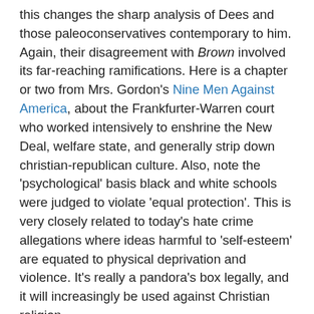this changes the sharp analysis of Dees and those paleoconservatives contemporary to him. Again, their disagreement with Brown involved its far-reaching ramifications. Here is a chapter or two from Mrs. Gordon's Nine Men Against America, about the Frankfurter-Warren court who worked intensively to enshrine the New Deal, welfare state, and generally strip down christian-republican culture. Also, note the 'psychological' basis black and white schools were judged to violate 'equal protection'. This is very closely related to today's hate crime allegations where ideas harmful to 'self-esteem' are equated to physical deprivation and violence. It's really a pandora's box legally, and it will increasingly be used against Christian religion.